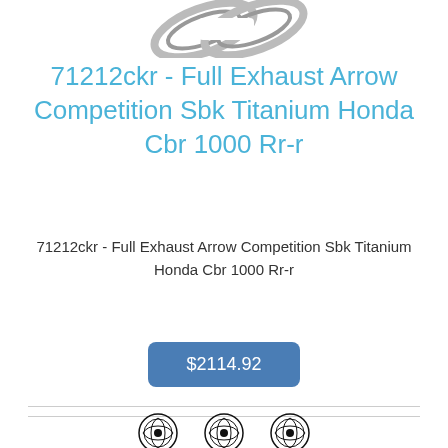[Figure (photo): Partial top view of a motorcycle exhaust chain/link component in metallic silver, cropped at top of page]
71212ckr - Full Exhaust Arrow Competition Sbk Titanium Honda Cbr 1000 Rr-r
71212ckr - Full Exhaust Arrow Competition Sbk Titanium Honda Cbr 1000 Rr-r
$2114.92
[Figure (logo): Three decorative circular badge/seal icons at bottom of page]